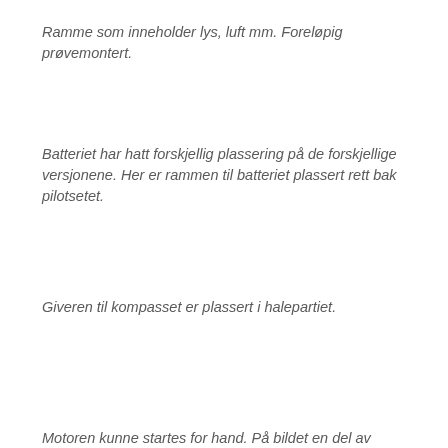Ramme som inneholder lys, luft mm. Foreløpig prøvemontert.
Batteriet har hatt forskjellig plassering på de forskjellige versjonene. Her er rammen til batteriet plassert rett bak pilotsetet.
Giveren til kompasset er plassert i halepartiet.
Motoren kunne startes for hand. På bildet en del av